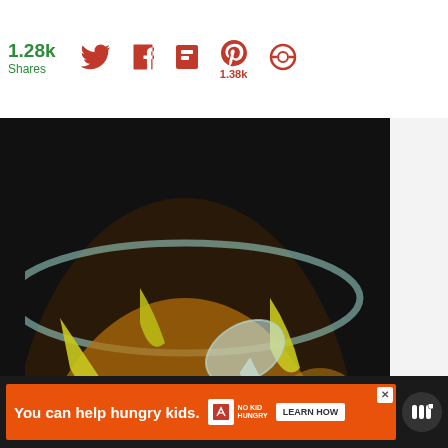1.28k Shares
[Figure (photo): A glass bowl containing shredded pot roast beef with banana peppers in broth, with a spoon and a hand visible. Watermark text reads: what's cool in Italian Style Crockpot]
44
WHAT'S NEXT → Baked One Pot Stew...
You can help hungry kids. NO KID HUNGRY LEARN HOW